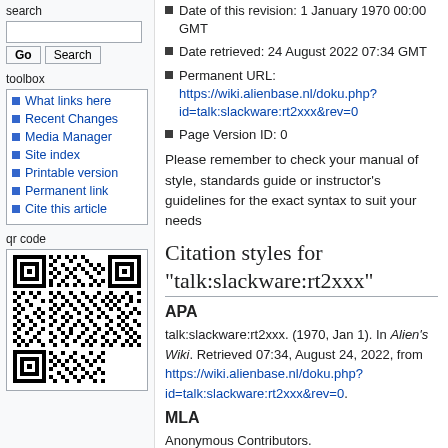search
What links here
Recent Changes
Media Manager
Site index
Printable version
Permanent link
Cite this article
qr code
[Figure (other): QR code for talk:slackware:rt2xxx wiki page]
Date of this revision: 1 January 1970 00:00 GMT
Date retrieved: 24 August 2022 07:34 GMT
Permanent URL: https://wiki.alienbase.nl/doku.php?id=talk:slackware:rt2xxx&rev=0
Page Version ID: 0
Please remember to check your manual of style, standards guide or instructor's guidelines for the exact syntax to suit your needs
Citation styles for "talk:slackware:rt2xxx"
APA
talk:slackware:rt2xxx. (1970, Jan 1). In Alien's Wiki. Retrieved 07:34, August 24, 2022, from https://wiki.alienbase.nl/doku.php?id=talk:slackware:rt2xxx&rev=0.
MLA
Anonymous Contributors.